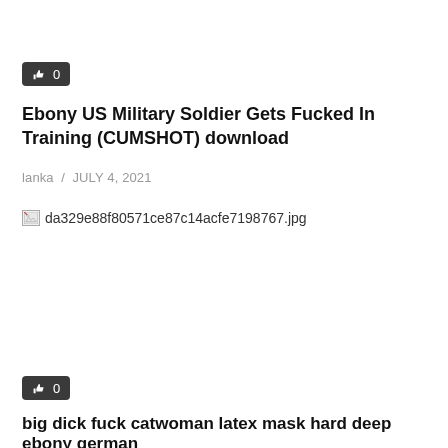[Figure (other): Like/thumbs-up button showing count 0]
Ebony US Military Soldier Gets Fucked In Training (CUMSHOT) download
lanka / JULY 4, 2021
[Figure (photo): Broken image placeholder showing filename: da329e88f80571ce87c14acfe7198767.jpg]
[Figure (other): Like/thumbs-up button showing count 0]
big dick fuck catwoman latex mask hard deep ebony german